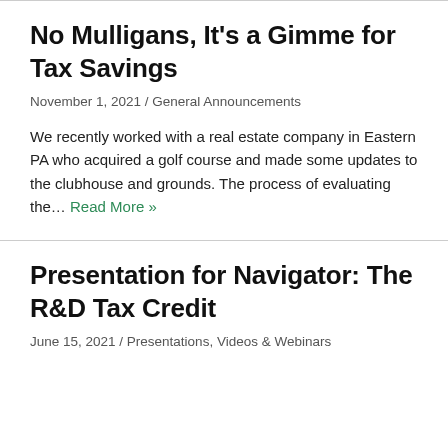No Mulligans, It's a Gimme for Tax Savings
November 1, 2021 / General Announcements
We recently worked with a real estate company in Eastern PA who acquired a golf course and made some updates to the clubhouse and grounds. The process of evaluating the… Read More »
Presentation for Navigator: The R&D Tax Credit
June 15, 2021 / Presentations, Videos & Webinars